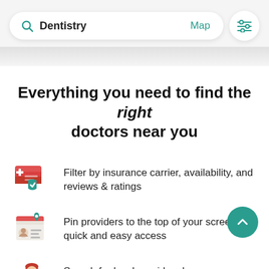[Figure (screenshot): Mobile app search bar showing 'Dentistry' search with 'Map' link and filter/settings icon button]
Everything you need to find the right doctors near you
Filter by insurance carrier, availability, and reviews & ratings
Pin providers to the top of your screen for quick and easy access
Search for local providers by name, specialty, or condition & procedure